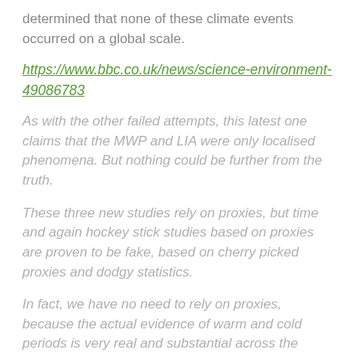determined that none of these climate events occurred on a global scale.
https://www.bbc.co.uk/news/science-environment-49086783
As with the other failed attempts, this latest one claims that the MWP and LIA were only localised phenomena. But nothing could be further from the truth.
These three new studies rely on proxies, but time and again hockey stick studies based on proxies are proven to be fake, based on cherry picked proxies and dodgy statistics.
In fact, we have no need to rely on proxies, because the actual evidence of warm and cold periods is very real and substantial across the world.